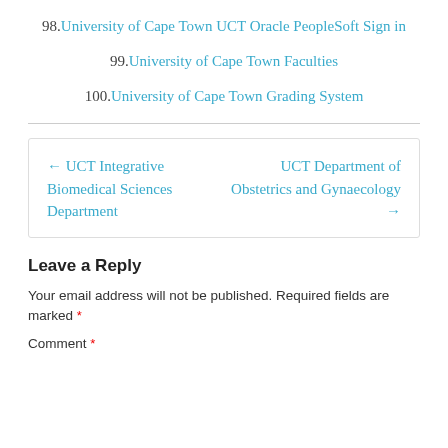98. University of Cape Town UCT Oracle PeopleSoft Sign in
99. University of Cape Town Faculties
100. University of Cape Town Grading System
← UCT Integrative Biomedical Sciences Department    UCT Department of Obstetrics and Gynaecology →
Leave a Reply
Your email address will not be published. Required fields are marked *
Comment *